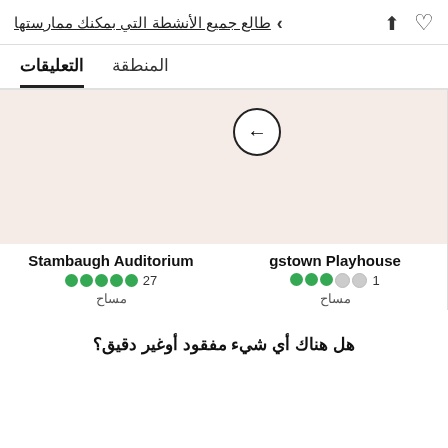طالع جميع الأنشطة التي بمكنك ممارستها
التعليقات  المنطقة
[Figure (screenshot): Two venue cards side by side. Left card: back arrow button on pinkish background. Right card: plain pinkish background.]
gstown Playhouse
1 ●●●◑○○ مساح
Stambaugh Auditorium
27 ●●●●●● مساح
هل هناك أي شيء مفقود أوغير دقيق؟